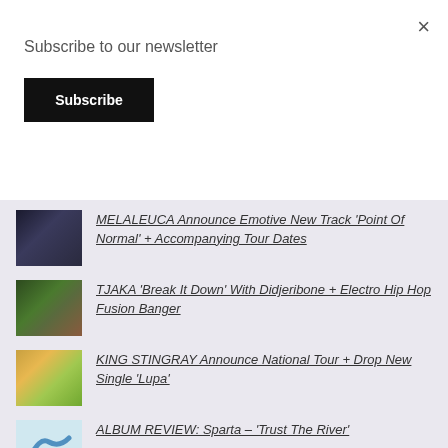Subscribe to our newsletter
Subscribe
×
MELALEUCA Announce Emotive New Track 'Point Of Normal' + Accompanying Tour Dates
TJAKA 'Break It Down' With Didjeribone + Electro Hip Hop Fusion Banger
KING STINGRAY Announce National Tour + Drop New Single 'Lupa'
ALBUM REVIEW: Sparta – 'Trust The River'